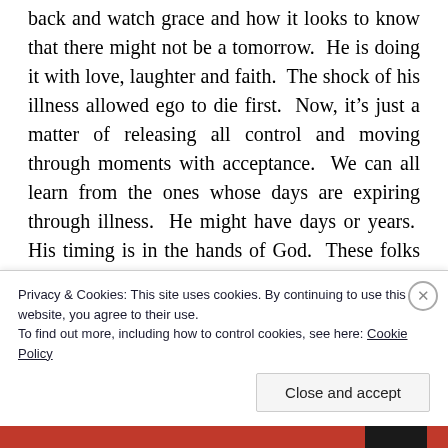back and watch grace and how it looks to know that there might not be a tomorrow.  He is doing it with love, laughter and faith.  The shock of his illness allowed ego to die first.  Now, it’s just a matter of releasing all control and moving through moments with acceptance.  We can all learn from the ones whose days are expiring through illness.  He might have days or years.  His timing is in the hands of God.  These folks who have so much to conquer become our biggest teachers.  Mine left a few hours ago and I will forever be grateful for his time.  I love you, Dun.  Thank you!  Until we meet
Privacy & Cookies: This site uses cookies. By continuing to use this website, you agree to their use.
To find out more, including how to control cookies, see here: Cookie Policy
Close and accept